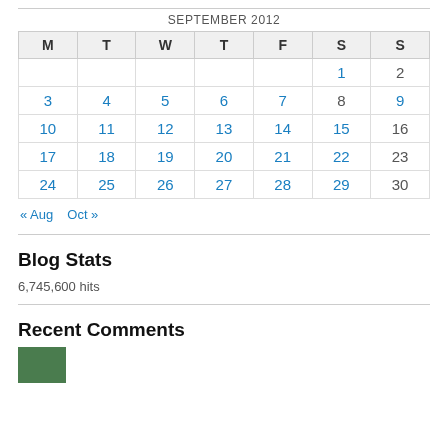| M | T | W | T | F | S | S |
| --- | --- | --- | --- | --- | --- | --- |
|  |  |  |  |  | 1 | 2 |
| 3 | 4 | 5 | 6 | 7 | 8 | 9 |
| 10 | 11 | 12 | 13 | 14 | 15 | 16 |
| 17 | 18 | 19 | 20 | 21 | 22 | 23 |
| 24 | 25 | 26 | 27 | 28 | 29 | 30 |
« Aug   Oct »
Blog Stats
6,745,600 hits
Recent Comments